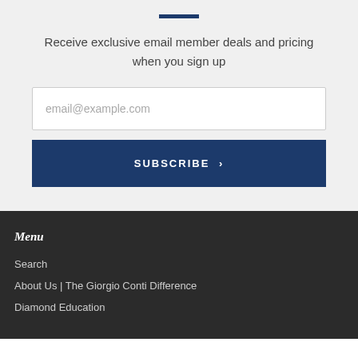Receive exclusive email member deals and pricing when you sign up
email@example.com
SUBSCRIBE >
Menu
Search
About Us | The Giorgio Conti Difference
Diamond Education